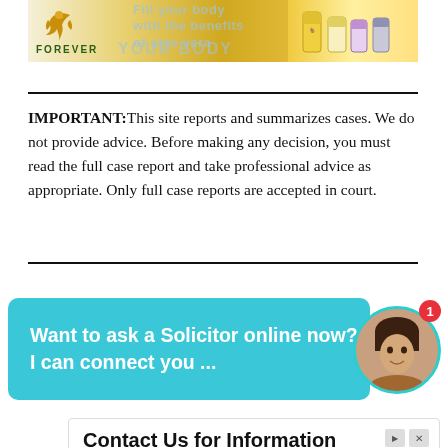[Figure (illustration): Forever Living Products banner advertisement showing a golden eagle logo, 'FOREVER' text, overlaid text reading 'Fill your body with the benefits of aloe vera YOUR BODY', and product bottles on the right side.]
IMPORTANT: This site reports and summarizes cases. We do not provide advice. Before making any decision, you must read the full case report and take professional advice as appropriate. Only full case reports are accepted in court.
[Figure (screenshot): Chat widget with teal/cyan background saying 'Want to ask a Solicitor online now? I can connect you ...' with a circular avatar photo of a woman and a red badge showing number 1.]
[Figure (screenshot): Advertisement banner: 'Contact Us for Information' with text 'Our Services Also Include Yard Grading, Leveling and More.' Source: Jenkins Excavating... with blue 'Open' button.]